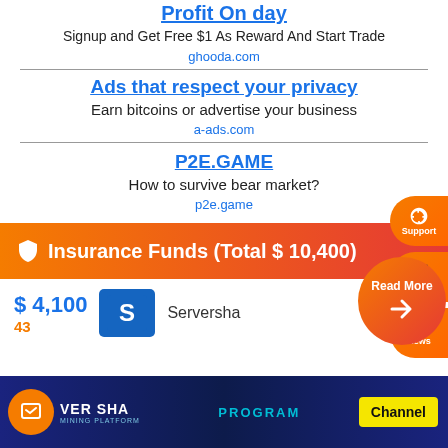Profit On day
Signup and Get Free $1 As Reward And Start Trade
ghooda.com
Ads that respect your privacy
Earn bitcoins or advertise your business
a-ads.com
P2E.GAME
How to survive bear market?
p2e.game
Insurance Funds (Total $ 10,400)
$ 4,100
43
[Figure (logo): Serversha logo - blue square with S letter]
Serversha
Read More
Channel
[Figure (screenshot): Serversha mining platform dark banner with PROGRAM text and Channel button]